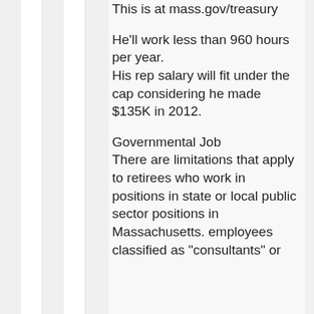This is at mass.gov/treasury
He'll work less than 960 hours per year. His rep salary will fit under the cap considering he made $135K in 2012.
Governmental Job There are limitations that apply to retirees who work in positions in state or local public sector positions in Massachusetts. employees classified as "consultants" or